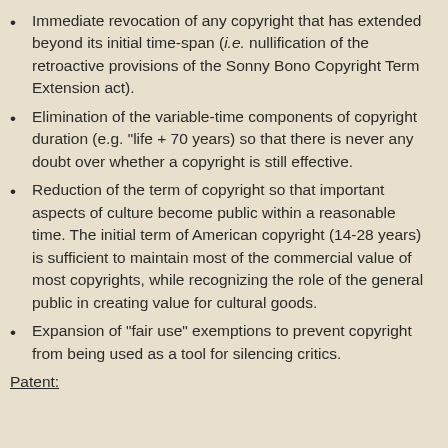Immediate revocation of any copyright that has extended beyond its initial time-span (i.e. nullification of the retroactive provisions of the Sonny Bono Copyright Term Extension act).
Elimination of the variable-time components of copyright duration (e.g. "life + 70 years) so that there is never any doubt over whether a copyright is still effective.
Reduction of the term of copyright so that important aspects of culture become public within a reasonable time. The initial term of American copyright (14-28 years) is sufficient to maintain most of the commercial value of most copyrights, while recognizing the role of the general public in creating value for cultural goods.
Expansion of "fair use" exemptions to prevent copyright from being used as a tool for silencing critics.
Patent: